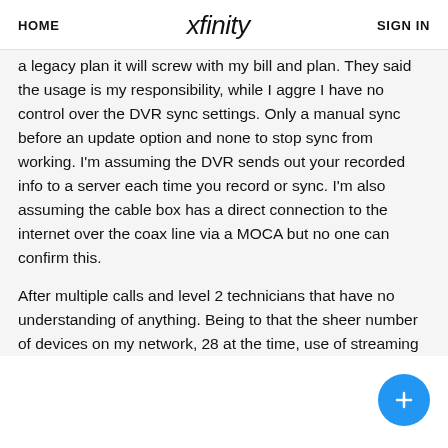HOME   xfinity   SIGN IN
a legacy plan it will screw with my bill and plan. They said the usage is my responsibility, while I aggre I have no control over the DVR sync settings. Only a manual sync before an update option and none to stop sync from working. I'm assuming the DVR sends out your recorded info to a server each time you record or sync. I'm also assuming the cable box has a direct connection to the internet over the coax line via a MOCA but no one can confirm this.
After multiple calls and level 2 technicians that have no understanding of anything. Being to that the sheer number of devices on my network, 28 at the time, use of streaming